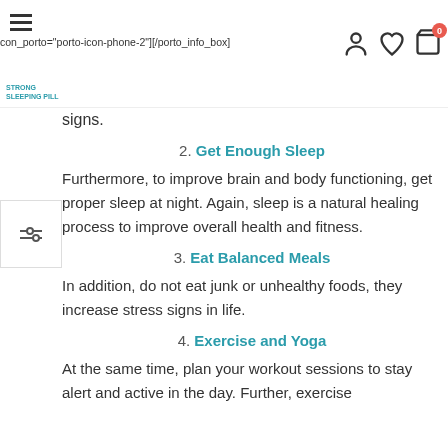con_porto="porto-icon-phone-2"][/porto_info_box]
signs.
2. Get Enough Sleep
Furthermore, to improve brain and body functioning, get proper sleep at night. Again, sleep is a natural healing process to improve overall health and fitness.
3. Eat Balanced Meals
In addition, do not eat junk or unhealthy foods, they increase stress signs in life.
4. Exercise and Yoga
At the same time, plan your workout sessions to stay alert and active in the day. Further, exercise